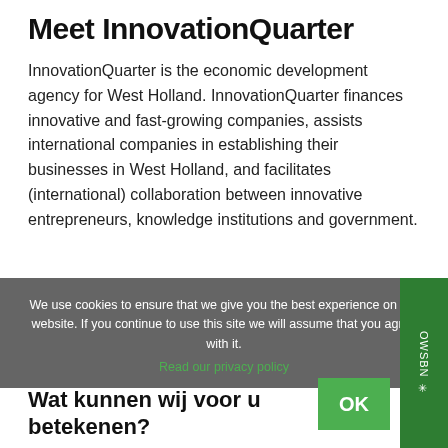Meet InnovationQuarter
InnovationQuarter is the economic development agency for West Holland. InnovationQuarter finances innovative and fast-growing companies, assists international companies in establishing their businesses in West Holland, and facilitates (international) collaboration between innovative entrepreneurs, knowledge institutions and government.
We use cookies to ensure that we give you the best experience on our website. If you continue to use this site we will assume that you agree with it. Read our privacy policy
Wat kunnen wij voor u betekenen?